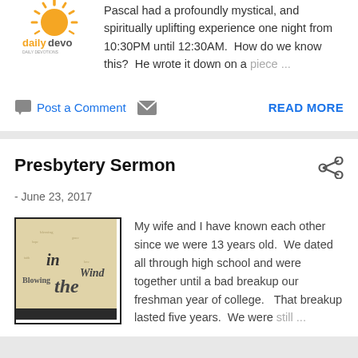[Figure (logo): dailydevo logo with sunburst graphic]
Pascal had a profoundly mystical, and spiritually uplifting experience one night from 10:30PM until 12:30AM.  How do we know this?  He wrote it down on a piece ...
Post a Comment  READ MORE
Presbytery Sermon
- June 23, 2017
[Figure (illustration): Book cover image: 'Blowing in the Wind' with stylized text]
My wife and I have known each other since we were 13 years old.  We dated all through high school and were together until a bad breakup our freshman year of college.   That breakup lasted five years.  We were still ...